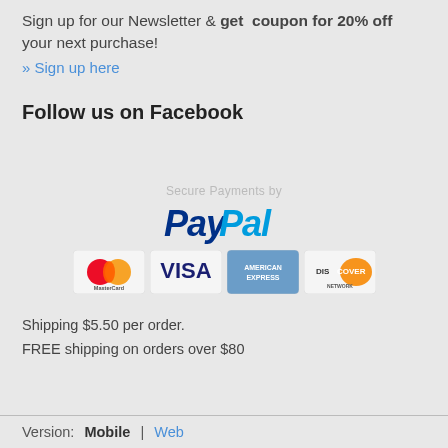Sign up for our Newsletter & get coupon for 20% off your next purchase!
» Sign up here
Follow us on Facebook
[Figure (logo): PayPal payment logo with text 'Secure Payments by PayPal' and credit card icons: MasterCard, VISA, American Express, Discover]
Shipping $5.50 per order.
FREE shipping on orders over $80
Version: Mobile | Web